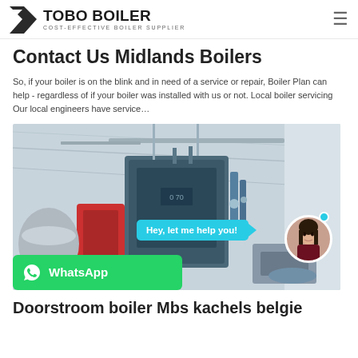TOBO BOILER – COST-EFFECTIVE BOILER SUPPLIER
Contact Us Midlands Boilers
So, if your boiler is on the blink and in need of a service or repair, Boiler Plan can help - regardless of if your boiler was installed with us or not. Local boiler servicing Our local engineers have service…
[Figure (photo): Industrial boiler equipment in a factory setting with large blue/grey boiler units and red components. Chat bubble overlay saying 'Hey, let me help you!' with avatar and WhatsApp button.]
Doorstroom boiler Mbs kachels belgie